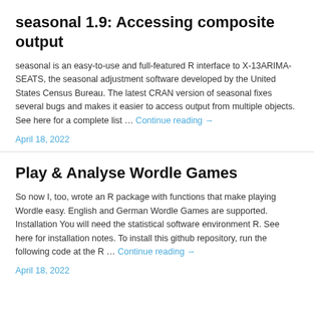seasonal 1.9: Accessing composite output
seasonal is an easy-to-use and full-featured R interface to X-13ARIMA-SEATS, the seasonal adjustment software developed by the United States Census Bureau. The latest CRAN version of seasonal fixes several bugs and makes it easier to access output from multiple objects. See here for a complete list … Continue reading →
April 18, 2022
Play & Analyse Wordle Games
So now I, too, wrote an R package with functions that make playing Wordle easy. English and German Wordle Games are supported. Installation You will need the statistical software environment R. See here for installation notes. To install this github repository, run the following code at the R … Continue reading →
April 18, 2022